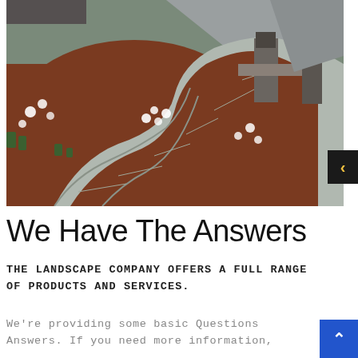[Figure (photo): Aerial/overhead view of a curved flagstone walkway and landscaped garden beds with white flowering plants and red mulch, leading to a stone wall and road.]
We Have The Answers
THE LANDSCAPE COMPANY OFFERS A FULL RANGE OF PRODUCTS AND SERVICES.
We're providing some basic Questions Answers. If you need more information,